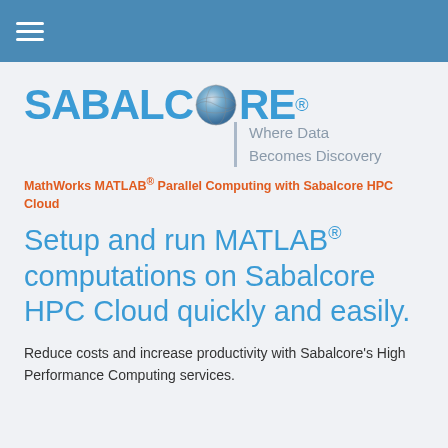☰
[Figure (logo): Sabalcore logo with globe icon and registered trademark, tagline: Where Data Becomes Discovery]
MathWorks MATLAB® Parallel Computing with Sabalcore HPC Cloud
Setup and run MATLAB® computations on Sabalcore HPC Cloud quickly and easily.
Reduce costs and increase productivity with Sabalcore's High Performance Computing services.